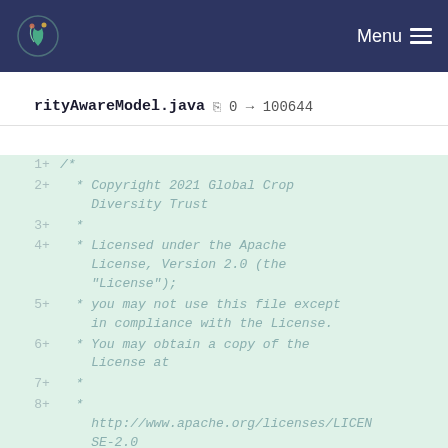Menu
rityAwareModel.java  0 → 100644
1  +  /*
2  +    * Copyright 2021 Global Crop Diversity Trust
3  +    *
4  +    * Licensed under the Apache License, Version 2.0 (the "License");
5  +    * you may not use this file except in compliance with the License.
6  +    * You may obtain a copy of the License at
7  +    *
8  +    *
         http://www.apache.org/licenses/LICENSE-2.0
9  +    *
10 +    * Unless required by applicable law or agreed to in writing,